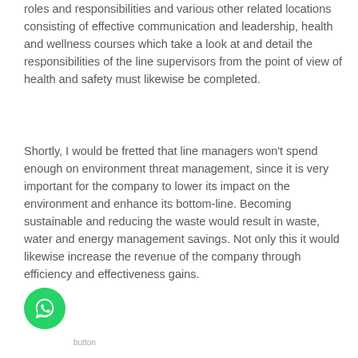roles and responsibilities and various other related locations consisting of effective communication and leadership, health and wellness courses which take a look at and detail the responsibilities of the line supervisors from the point of view of health and safety must likewise be completed.
Shortly, I would be fretted that line managers won't spend enough on environment threat management, since it is very important for the company to lower its impact on the environment and enhance its bottom-line. Becoming sustainable and reducing the waste would result in waste, water and energy management savings. Not only this it would likewise increase the revenue of the company through efficiency and effectiveness gains.
button